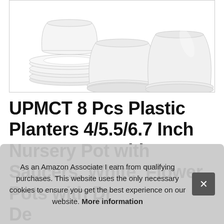[Figure (photo): Product photo of white plastic nursery pots and matching saucers arranged together on white background. Multiple round white pots of different sizes with flat white saucer trays stacked and displayed.]
UPMCT 8 Pcs Plastic Planters 4/5.5/6.7 Inch Nursery Pot with Saucers, White, Flower Pots with Dr... De... Inc...
As an Amazon Associate I earn from qualifying purchases. This website uses the only necessary cookies to ensure you get the best experience on our website. More information